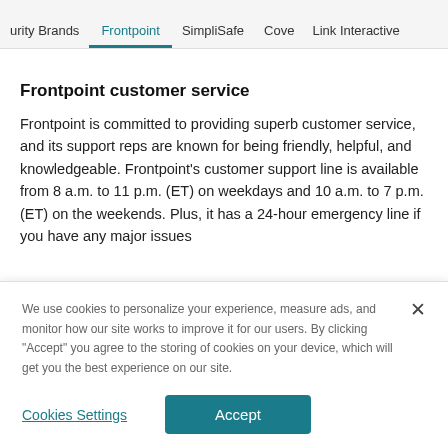urity Brands   Frontpoint   SimpliSafe   Cove   Link Interactive
Frontpoint customer service
Frontpoint is committed to providing superb customer service, and its support reps are known for being friendly, helpful, and knowledgeable. Frontpoint's customer support line is available from 8 a.m. to 11 p.m. (ET) on weekdays and 10 a.m. to 7 p.m. (ET) on the weekends. Plus, it has a 24-hour emergency line if you have any major issues
We use cookies to personalize your experience, measure ads, and monitor how our site works to improve it for our users. By clicking "Accept" you agree to the storing of cookies on your device, which will get you the best experience on our site.
Cookies Settings   Accept